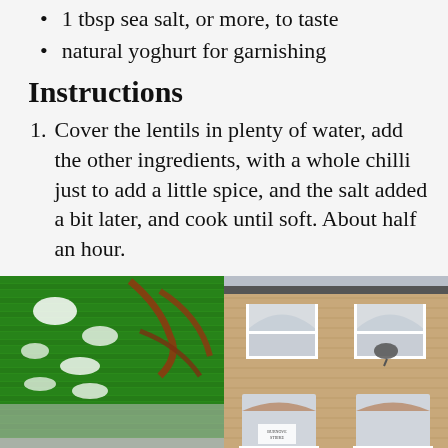1 tbsp sea salt, or more, to taste
natural yoghurt for garnishing
Instructions
Cover the lentils in plenty of water, add the other ingredients, with a whole chilli just to add a little spice, and the salt added a bit later, and cook until soft. About half an hour.
[Figure (photo): Left: Close-up of a green metal roller shutter with white and brown graffiti. Right: Brick building facade with arched windows and a satellite dish.]